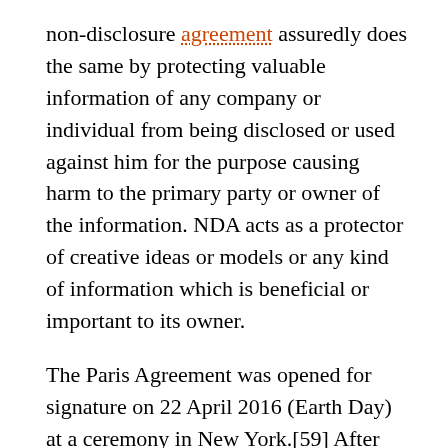non-disclosure agreement assuredly does the same by protecting valuable information of any company or individual from being disclosed or used against him for the purpose causing harm to the primary party or owner of the information. NDA acts as a protector of creative ideas or models or any kind of information which is beneficial or important to its owner.
The Paris Agreement was opened for signature on 22 April 2016 (Earth Day) at a ceremony in New York.[59] After several European Union states ratified the agreement in October 2016, there were enough countries that had ratified the agreement that produce enough of the world's greenhouse gases for the agreement to enter into force.[60] The agreement went into effect on 4 November 2016.[2] The agreement stated that it would enter into force (and thus become fully effective) only if 55 countries that produce at least 55% of the world's greenhouse gas emissions (according to a list produced in 2015)[65] ratify, accept, approve or accede to the agreement.[66][67] On 1 April 2016, the United States and China, which together represent almost 40% of